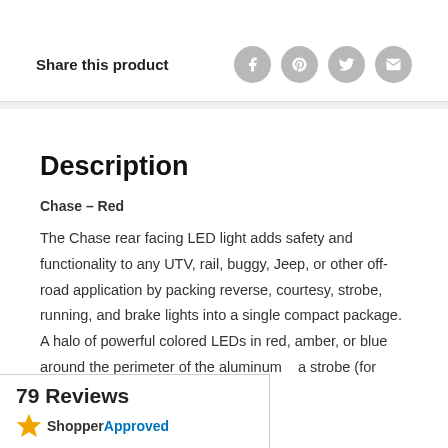Share this product
[Figure (infographic): Four social sharing icons (Facebook, Pinterest, Twitter, Email) as grey circles with white symbols]
Description
Chase – Red
The Chase rear facing LED light adds safety and functionality to any UTV, rail, buggy, Jeep, or other off-road application by packing reverse, courtesy, strobe, running, and brake lights into a single compact package. A halo of powerful colored LEDs in red, amber, or blue around the perimeter of the aluminum a strobe (for racing and chase
[Figure (logo): Shopper Approved badge showing 79 Reviews and star logo with ShopperApproved text]